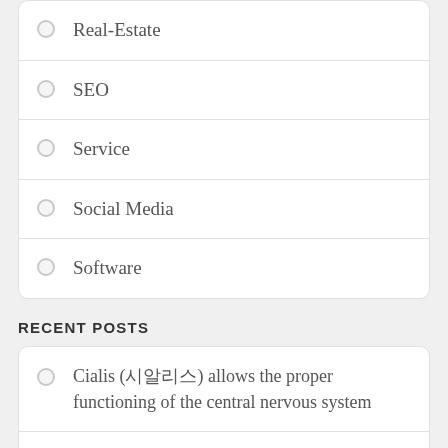Real-Estate
SEO
Service
Social Media
Software
RECENT POSTS
Cialis (시알리스) allows the proper functioning of the central nervous system
Utilizing white label seo providers has a variety of downsides